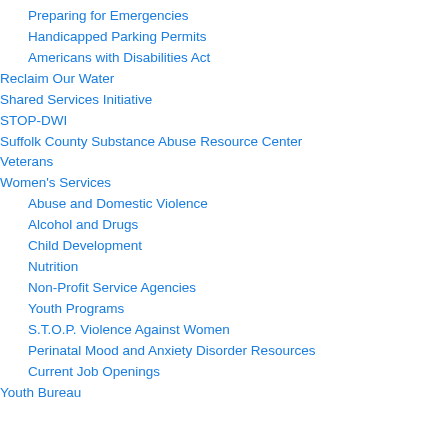Preparing for Emergencies
Handicapped Parking Permits
Americans with Disabilities Act
Reclaim Our Water
Shared Services Initiative
STOP-DWI
Suffolk County Substance Abuse Resource Center
Veterans
Women's Services
Abuse and Domestic Violence
Alcohol and Drugs
Child Development
Nutrition
Non-Profit Service Agencies
Youth Programs
S.T.O.P. Violence Against Women
Perinatal Mood and Anxiety Disorder Resources
Current Job Openings
Youth Bureau